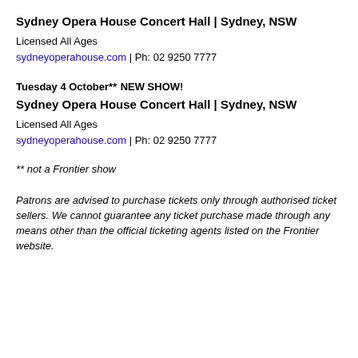Sydney Opera House Concert Hall | Sydney, NSW
Licensed All Ages
sydneyoperahouse.com | Ph: 02 9250 7777
Tuesday 4 October**
NEW SHOW!
Sydney Opera House Concert Hall | Sydney, NSW
Licensed All Ages
sydneyoperahouse.com | Ph: 02 9250 7777
** not a Frontier show
Patrons are advised to purchase tickets only through authorised ticket sellers. We cannot guarantee any ticket purchase made through any means other than the official ticketing agents listed on the Frontier website.